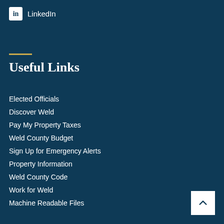LinkedIn
Useful Links
Elected Officials
Discover Weld
Pay My Property Taxes
Weld County Budget
Sign Up for Emergency Alerts
Property Information
Weld County Code
Work for Weld
Machine Readable Files